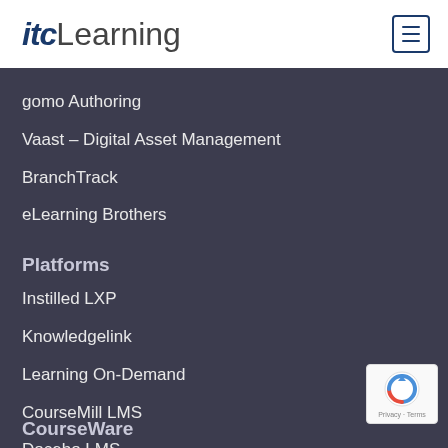itcLearning
gomo Authoring
Vaast – Digital Asset Management
BranchTrack
eLearning Brothers
Platforms
Instilled LXP
Knowledgelink
Learning On-Demand
CourseMill LMS
Docebo LMS
CourseWare